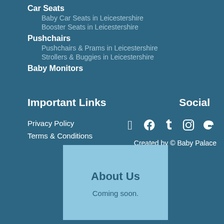Car Seats
Baby Car Seats in Leicestershire
Booster Seats in Leicestershire
Pushchairs
Pushchairs & Prams in Leicestershire
Strollers & Buggies in Leicestershire
Baby Monitors
Important Links
Social
Privacy Policy
Terms & Conditions
[Figure (infographic): Social media icons: Twitter, Pinterest, Tumblr, Instagram, Google+]
Created by © Baby Palace
About Us
Coming soon.